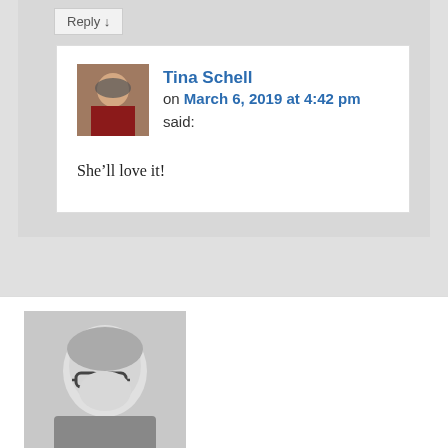Reply ↓
Tina Schell
on March 6, 2019 at 4:42 pm said:
She’ll love it!
[Figure (photo): Profile photo of V.J. Knutson, a woman with short blonde hair and glasses, black and white photo]
V.J. Knutson on March 5, 2019 at 8:17 am said:
Perfect advice. My son always dreamed of being an architect. He’d tell me when he was young: “I can almost see the buildings in 4 dimensions.” He